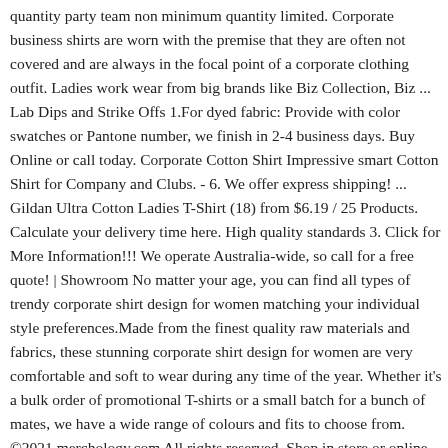quantity party team non minimum quantity limited. Corporate business shirts are worn with the premise that they are often not covered and are always in the focal point of a corporate clothing outfit. Ladies work wear from big brands like Biz Collection, Biz ... Lab Dips and Strike Offs 1.For dyed fabric: Provide with color swatches or Pantone number, we finish in 2-4 business days. Buy Online or call today. Corporate Cotton Shirt Impressive smart Cotton Shirt for Company and Clubs. - 6. We offer express shipping! ... Gildan Ultra Cotton Ladies T-Shirt (18) from $6.19 / 25 Products. Calculate your delivery time here. High quality standards 3. Click for More Information!!! We operate Australia-wide, so call for a free quote! | Showroom No matter your age, you can find all types of trendy corporate shirt design for women matching your individual style preferences.Made from the finest quality raw materials and fabrics, these stunning corporate shirt design for women are very comfortable and soft to wear during any time of the year. Whether it's a bulk order of promotional T-shirts or a small batch for a bunch of mates, we have a wide range of colours and fits to choose from. ©2021 merchology.com All rights reserved. Shop in store or online. Career by GloWeave is a new branding of an established label in Australia, with a history going back a several generations. | Lazada. Browse